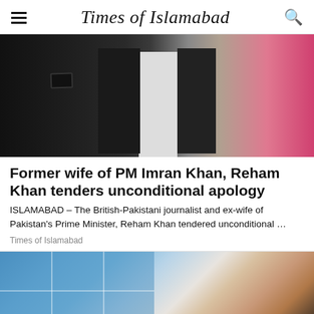Times of Islamabad
[Figure (photo): Two men in tuxedos/formal attire with a woman in pink visible on the right edge]
Former wife of PM Imran Khan, Reham Khan tenders unconditional apology
ISLAMABAD – The British-Pakistani journalist and ex-wife of Pakistan's Prime Minister, Reham Khan tendered unconditional …
Times of Islamabad
[Figure (photo): Blonde woman smiling in a television studio setting with blue window backdrop]